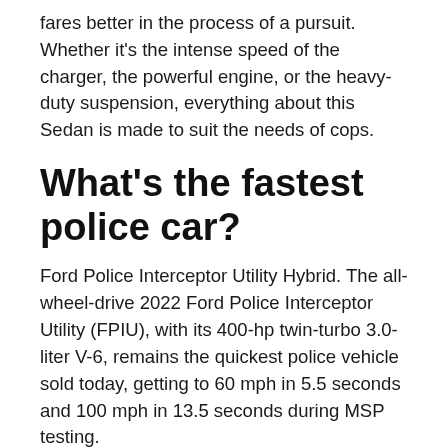fares better in the process of a pursuit. Whether it's the intense speed of the charger, the powerful engine, or the heavy-duty suspension, everything about this Sedan is made to suit the needs of cops.
What's the fastest police car?
Ford Police Interceptor Utility Hybrid. The all-wheel-drive 2022 Ford Police Interceptor Utility (FPIU), with its 400-hp twin-turbo 3.0-liter V-6, remains the quickest police vehicle sold today, getting to 60 mph in 5.5 seconds and 100 mph in 13.5 seconds during MSP testing.
How f...